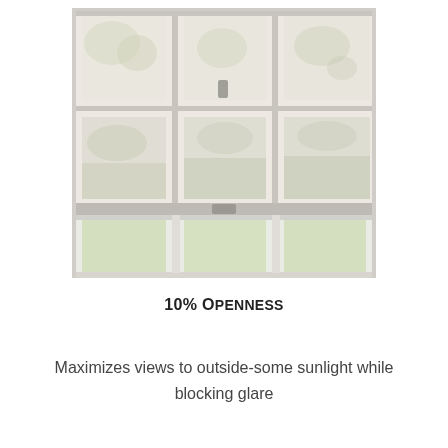[Figure (photo): A window with a sheer roller shade partially lowered, showing a 3x2 grid of window panes. The shade is a light cream/white translucent fabric letting diffused light through. Below the shade, the lower portion of the window is open, showing a green lawn outside. The window frame is white.]
10% Openness
Maximizes views to outside-some sunlight while blocking glare